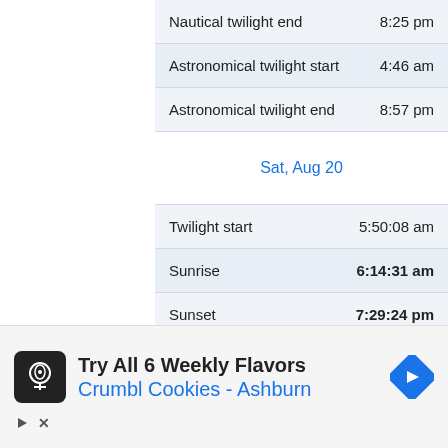| Event | Time |
| --- | --- |
| Nautical twilight end | 8:25 pm |
| Astronomical twilight start | 4:46 am |
| Astronomical twilight end | 8:57 pm |
Sat, Aug 20
| Event | Time |
| --- | --- |
| Twilight start | 5:50:08 am |
| Sunrise | 6:14:31 am |
| Sunset | 7:29:24 pm |
| Twilight end | 7:53:47 pm |
| Day length | 13:14:53 |
[Figure (other): Advertisement banner for Crumbl Cookies - Ashburn: Try All 6 Weekly Flavors]